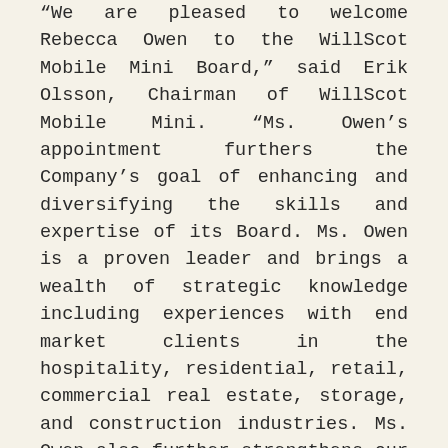“We are pleased to welcome Rebecca Owen to the WillScot Mobile Mini Board,” said Erik Olsson, Chairman of WillScot Mobile Mini. “Ms. Owen’s appointment furthers the Company’s goal of enhancing and diversifying the skills and expertise of its Board. Ms. Owen is a proven leader and brings a wealth of strategic knowledge including experiences with end market clients in the hospitality, residential, retail, commercial real estate, storage, and construction industries. Ms. Owen also further strengthens our corporate governance given her unique background and prior public company board experiences.”
“I have great trust in and respect for Rebecca,” added Brad Soultz, Chief Executive Officer. “I am confident that her addition to our Board will make an immediate and meaningful impact on our Company as we continue to scale, deliver superior results and create value for all of